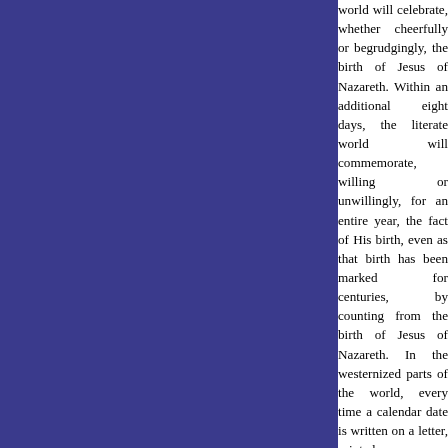world will celebrate, whether cheerfully or begrudgingly, the birth of Jesus of Nazareth. Within an additional eight days, the literate world will commemorate, willing or unwillingly, for an entire year, the fact of His birth, even as that birth has been marked for centuries, by counting from the birth of Jesus of Nazareth. In the westernized parts of the world, every time a calendar date is written on a letter, printed on a newspaper, scrolled across a television screen, or placed on a check, the birth of Jesus of Nazareth will be noted. Even Oriental, Muslim, and Jewish newspapers printed for Western distribution provide a reference to the date on the Gregorian calendar of the West. Humanists, atheists, cultists, and multi-culturalists launched such a concerted war against the use of A.D. (Anno Domini, Latin for the year of our Lord) over the last ten years that one now sees [even in �Christian�